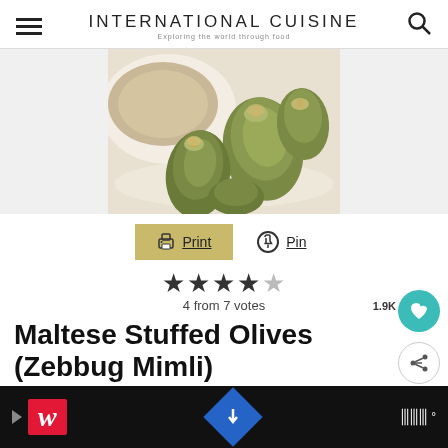INTERNATIONAL CUISINE — Exploring the world through food
[Figure (photo): Stuffed green olives (Zebbug Mimli) on a white plate, showing the olive-shaped appetizers with filling visible at the top]
🖨 Print   📌 Pin
★★★★☆ 4 from 7 votes
Maltese Stuffed Olives (Zebbug Mimli)
Course Appetizer